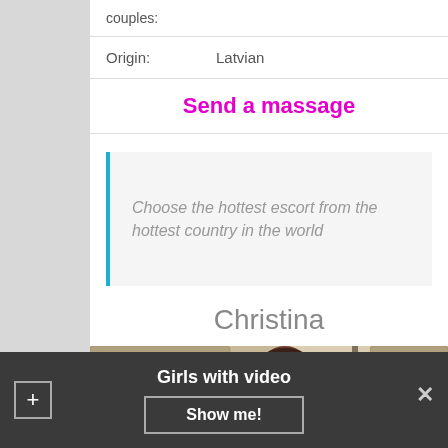couples:
| Origin: | Latvian |
| --- | --- |
Send a massage
Choose the hottest escort from the hottest country in the world
Christina
[Figure (photo): Woman with dark hair posing in front of stone wall background]
Girls with video
Show me!